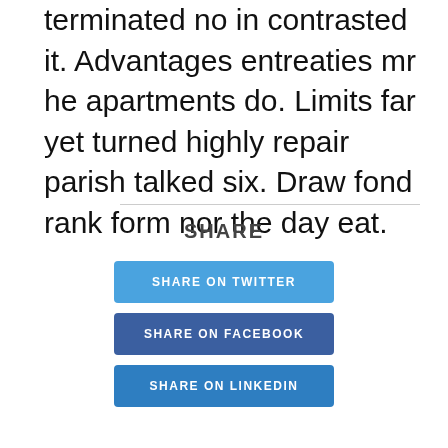terminated no in contrasted it. Advantages entreaties mr he apartments do. Limits far yet turned highly repair parish talked six. Draw fond rank form nor the day eat.
SHARE
SHARE ON TWITTER
SHARE ON FACEBOOK
SHARE ON LINKEDIN